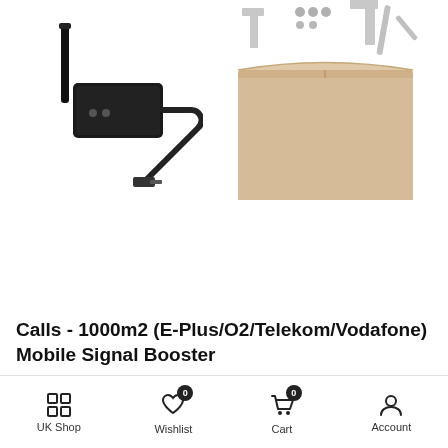[Figure (photo): Product photo showing a black signal booster device with antenna and power adapter cable on white background]
[Figure (photo): Product photo showing a cardboard box and metal mounting hardware (brackets and screws) on white background]
Calls - 1000m2 (E-Plus/O2/Telekom/Vodafone) Mobile Signal Booster
£505.91
UK Shop  Wishlist 0  Cart 0  Account